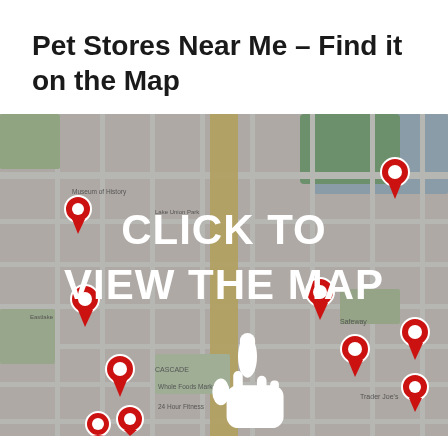Pet Stores Near Me – Find it on the Map
[Figure (map): A Google Maps view of a city area showing multiple red location pin markers indicating pet stores. Overlaid with white bold text 'CLICK TO VIEW THE MAP' and a white hand cursor icon pointing downward.]